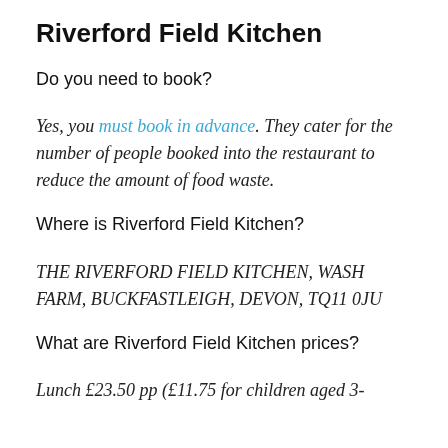Riverford Field Kitchen
Do you need to book?
Yes, you must book in advance. They cater for the number of people booked into the restaurant to reduce the amount of food waste.
Where is Riverford Field Kitchen?
THE RIVERFORD FIELD KITCHEN, WASH FARM, BUCKFASTLEIGH, DEVON, TQ11 0JU
What are Riverford Field Kitchen prices?
Lunch £23.50 pp (£11.75 for children aged 3-